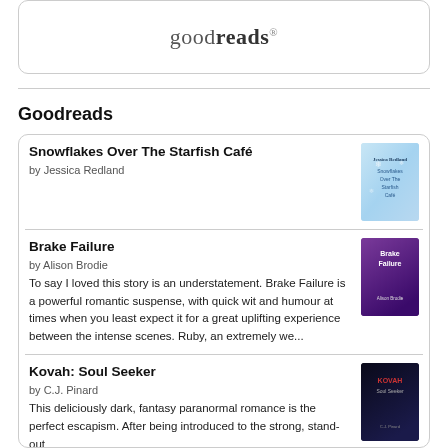[Figure (logo): Goodreads logo in a rounded rectangle box]
Goodreads
Snowflakes Over The Starfish Café
by Jessica Redland
Brake Failure
by Alison Brodie
To say I loved this story is an understatement. Brake Failure is a powerful romantic suspense, with quick wit and humour at times when you least expect it for a great uplifting experience between the intense scenes. Ruby, an extremely we...
Kovah: Soul Seeker
by C.J. Pinard
This deliciously dark, fantasy paranormal romance is the perfect escapism. After being introduced to the strong, stand-out